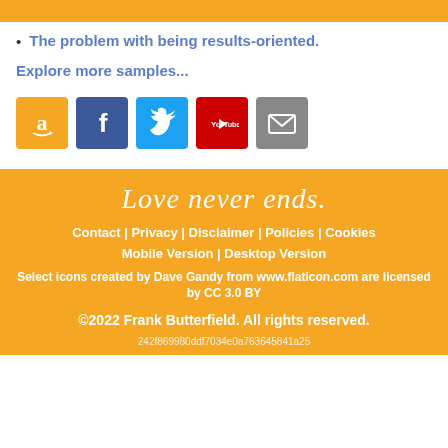The problem with being results-oriented.
Explore more samples...
[Figure (other): Row of five social media/contact icons: Amazon (orange), Facebook (blue), Twitter (light blue), YouTube (red), Email/envelope (gray)]
Love never ends.
Contact | Privacy | Disclaimer | Policies | Cookies
Mobile Version | Desktop Version
Select icons created by Dave Gandy from www.flaticon.com are licensed by CC 3.0 BY
©2022 Frank Butterfield. All rights reserved.
242f869980ddf7034e0a763645841a25